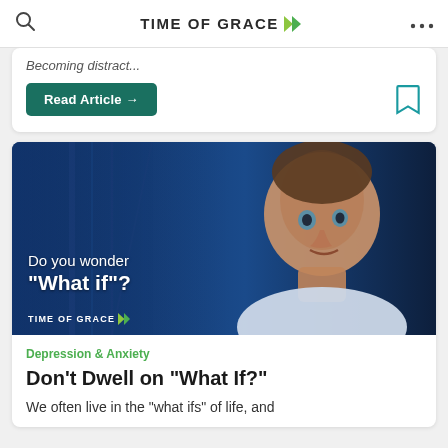TIME OF GRACE
Becoming distract...
Read Article →
[Figure (photo): Man speaking against a dark blue background with text overlay: 'Do you wonder "What if"?' and TIME OF GRACE logo in the bottom left corner.]
Depression & Anxiety
Don't Dwell on "What If?"
We often live in the "what ifs" of life, and